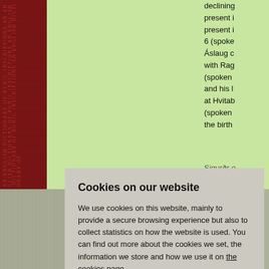[Figure (illustration): Background page with light green content area and red runic-patterned left border strip. The right side shows partially visible academic text about Norse sagas.]
declining present i present i 6 (spoke Áslaug c with Rag (spoken and his l at Hvitab (spoken the birth Sigurðr i is likely stanzas Eiríkr at death in 11-14), 13, at le present (see ab present Ragn 12 on the o present and the does no firm sta presenc of any o stanzas
Cookies on our website
We use cookies on this website, mainly to provide a secure browsing experience but also to collect statistics on how the website is used. You can find out more about the cookies we set, the information we store and how we use it on the cookies page.
Continue